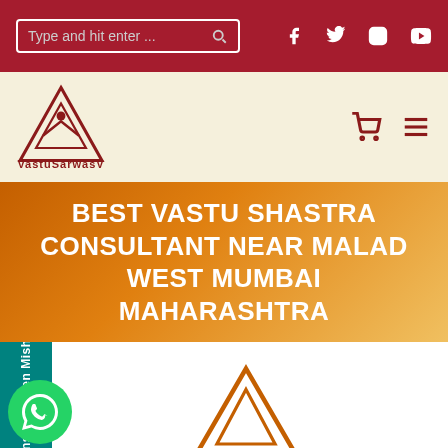[Figure (screenshot): Website header with search bar and social media icons (Facebook, Twitter, Instagram, YouTube) on dark red background]
[Figure (logo): VastuSarwasV logo - triangle with dot and VSV text, with cart and menu icons on cream background]
BEST VASTU SHASTRA CONSULTANT NEAR MALAD WEST MUMBAI MAHARASHTRA
[Figure (infographic): Sidebar tab reading 'Consult Navien Mishrra' vertically, WhatsApp button, and partial VSV triangle logo at bottom]